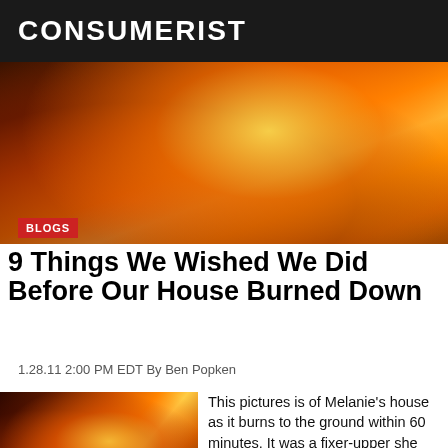CONSUMERIST
[Figure (photo): House fire burning intensely at night, orange and yellow flames visible]
BLOGS
9 Things We Wished We Did Before Our House Burned Down
1.28.11 2:00 PM EDT By Ben Popken
[Figure (photo): Close-up of house fire burning to the ground, orange flames and embers]
This pictures is of Melanie’s house as it burns to the ground within 60 minutes. It was a fixer-upper she and